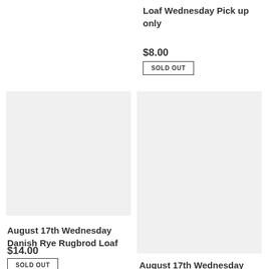Loaf Wednesday Pick up only
$8.00
SOLD OUT
[Figure (other): Product image placeholder - light gray rectangle for August 17th Wednesday Danish Rye Rugbrod Loaf]
August 17th Wednesday Danish Rye Rugbrod Loaf
$14.00
SOLD OUT
[Figure (other): Product image placeholder - light gray rectangle for August 17th Wednesday Seeded Multi Grain Sourdough Loaf]
August 17th Wednesday Seeded Multi Grain Sourdough Loaf